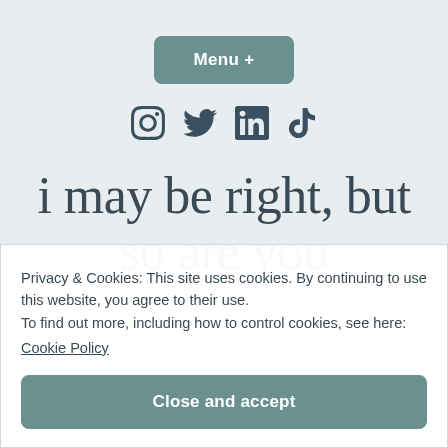[Figure (screenshot): Menu button with teal/muted green background, white bold text 'Menu +']
[Figure (screenshot): Social media icons row: Instagram, Twitter, LinkedIn, TikTok in dark teal color]
i may be right, but so are you
Privacy & Cookies: This site uses cookies. By continuing to use this website, you agree to their use.
To find out more, including how to control cookies, see here:
Cookie Policy
Close and accept